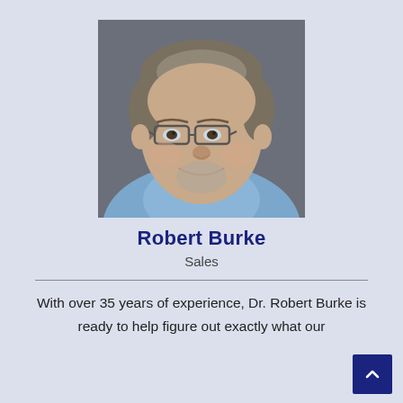[Figure (photo): Professional headshot of an older man with gray hair and glasses, wearing a light blue collared shirt, smiling, against a gray background.]
Robert Burke
Sales
With over 35 years of experience, Dr. Robert Burke is ready to help figure out exactly what our